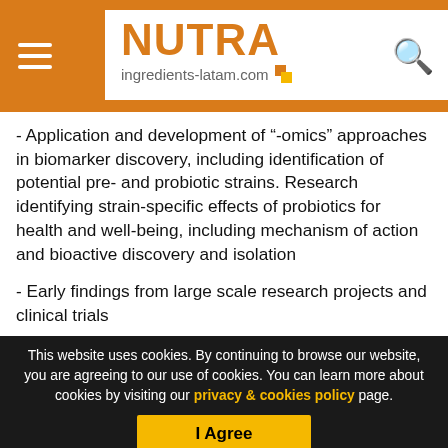NUTRA ingredients-latam.com
- Application and development of “-omics” approaches in biomarker discovery, including identification of potential pre- and probiotic strains. Research identifying strain-specific effects of probiotics for health and well-being, including mechanism of action and bioactive discovery and isolation
- Early findings from large scale research projects and clinical trials
- Innovations and novel ideas in the areas of production
This website uses cookies. By continuing to browse our website, you are agreeing to our use of cookies. You can learn more about cookies by visiting our privacy & cookies policy page.
I Agree